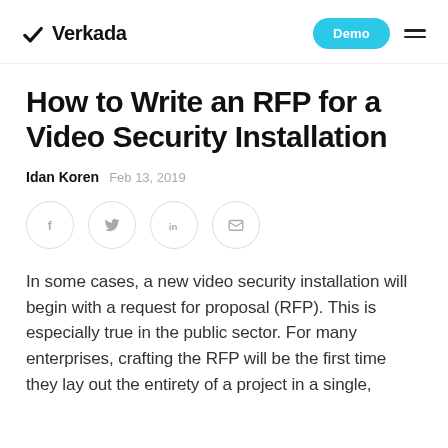Verkada | Demo
How to Write an RFP for a Video Security Installation
Idan Koren  Feb 13, 2019
[Figure (infographic): Four circular social media share icons: Facebook (f), Twitter (bird), LinkedIn (in), Email (envelope)]
In some cases, a new video security installation will begin with a request for proposal (RFP). This is especially true in the public sector. For many enterprises, crafting the RFP will be the first time they lay out the entirety of a project in a single,